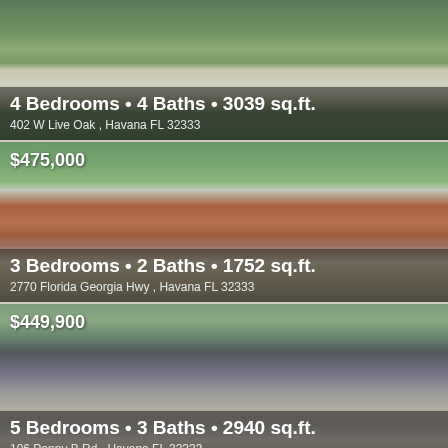[Figure (photo): Exterior photo of a large white two-story house with green lawn]
4 Bedrooms • 4 Baths • 3039 sq.ft.
402 W Live Oak , Havana FL 32333
[Figure (photo): Exterior photo of a single-story brick ranch house with garage]
$475,000
3 Bedrooms • 2 Baths • 1752 sq.ft.
2770 Florida Georgia Hwy , Havana FL 32333
[Figure (photo): Exterior photo of a two-story gray house with front porch deck]
$449,900
5 Bedrooms • 3 Baths • 2940 sq.ft.
106 Penny B Rd , Havana FL 32333
Page 1